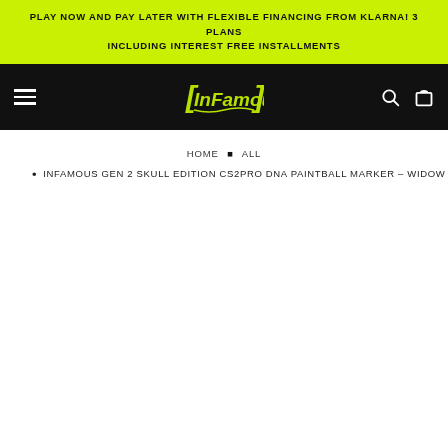PLAY NOW AND PAY LATER WITH FLEXIBLE FINANCING FROM KLARNA! 3 PLANS INCLUDING INTEREST FREE INSTALLMENTS
[Figure (logo): Infamous paintball brand logo in green graffiti-style text on black navigation bar]
HOME • ALL
INFAMOUS GEN 2 SKULL EDITION CS2PRO DNA PAINTBALL MARKER – WIDOW